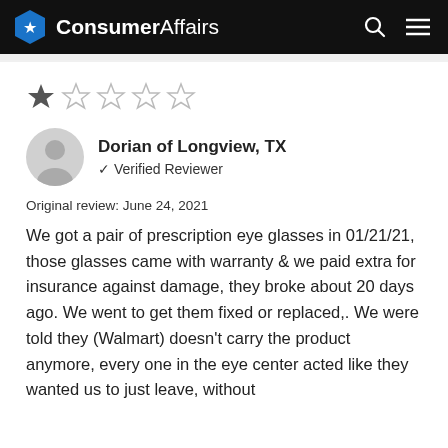ConsumerAffairs
[Figure (other): Star rating: 1 out of 5 stars filled, 4 empty]
Dorian of Longview, TX
✔ Verified Reviewer
Original review: June 24, 2021
We got a pair of prescription eye glasses in 01/21/21, those glasses came with warranty & we paid extra for insurance against damage, they broke about 20 days ago. We went to get them fixed or replaced,. We were told they (Walmart) doesn't carry the product anymore, every one in the eye center acted like they wanted us to just leave, without